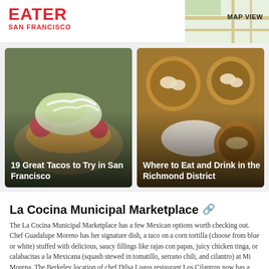EATER SAN FRANCISCO | MAP VIEW
[Figure (photo): Food photo of a taco with shredded cabbage, cream drizzle, and colorful toppings on a corn tortilla]
19 Great Tacos to Try in San Francisco
[Figure (photo): Overhead photo of dim sum dishes including steamed dumplings and other Chinese dishes in bamboo baskets]
Where to Eat and Drink in the Richmond District
La Cocina Municipal Marketplace
The La Cocina Municipal Marketplace has a few Mexican options worth checking out. Chef Guadalupe Moreno has her signature dish, a taco on a corn tortilla (choose from blue or white) stuffed with delicious, saucy fillings like rajas con papas, juicy chicken tinga, or calabacitas a la Mexicana (squash stewed in tomatillo, serrano chili, and cilantro) at Mi Morena. The Berkeley location of chef Dilsa Lugos restaurant Los Cilantros now has a sibling in the La Cocina Municipal Marketplace, too.